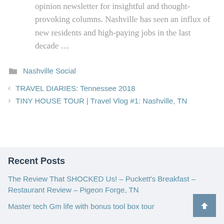opinion newsletter for insightful and thought-provoking columns. Nashville has seen an influx of new residents and high-paying jobs in the last decade …
Nashville Social
TRAVEL DIARIES: Tennessee 2018
TINY HOUSE TOUR | Travel Vlog #1: Nashville, TN
Recent Posts
The Review That SHOCKED Us! – Puckett's Breakfast – Restaurant Review – Pigeon Forge, TN
Master tech Gm life with bonus tool box tour